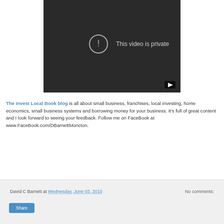[Figure (screenshot): YouTube video embed showing 'This video is private' message with an exclamation mark icon and YouTube button in the bottom right corner. Dark background.]
The Invest Local Book blog is all about small business, franchises, local investing, home economics, small business systems and borrowing money for your business. It's full of great content and I look forward to seeing your feedback.  Follow me on FaceBook at www.FaceBook.com/DBarnettMoncton.
David C Barnett at Wednesday, June 03, 2015   No comments:   Share